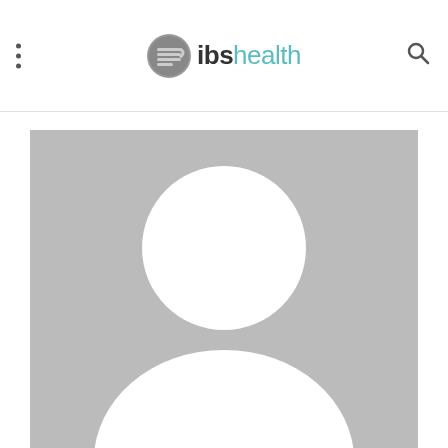ibshealth
[Figure (photo): Generic placeholder user avatar image: gray background with white silhouette of a person (head as circle, shoulders as partial circle at bottom)]